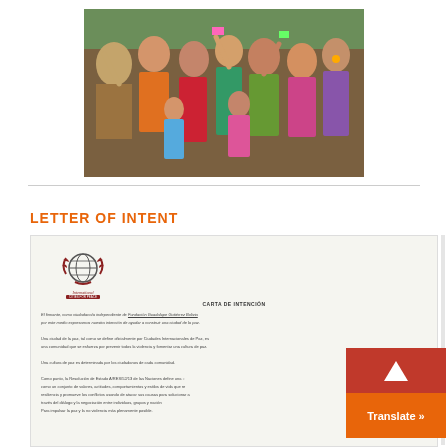[Figure (photo): Group of people including children and adults celebrating outdoors, some raising their hands, wearing colorful clothing]
LETTER OF INTENT
[Figure (photo): Scanned letter of intent document with International Cities of Peace logo, titled CARTA DE INTENCIÓN, containing Spanish text about peace city initiative]
CARTA DE INTENCIÓN
El firmante, como ciudadano/a independiente de Fundación Guadalupe Gutiérrez Bolivia por este medio expresamos nuestra intención de ayudar a construir una ciudad de la paz.
Una ciudad de la paz, tal como se define oficialmente por Ciudades Internacionales de Paz, es una comunidad que se esfuerza por prevenir todos la violencia y fomentar una cultura de paz.
Una cultura de paz es determinada por los ciudadanos de cada comunidad.
Como punto, la Resolución de Estado A/RES/52/13 de las Naciones define una cultura de paz como un conjunto de valores, actitudes, comportamientos y estilos de vida que reflejan y promueven los conflictos usando de atacar sus causas para solucionar a través del diálogo y la negociación entre individuos, grupos y naciones. Para impulsar la paz y la no violencia más plenamente posible.